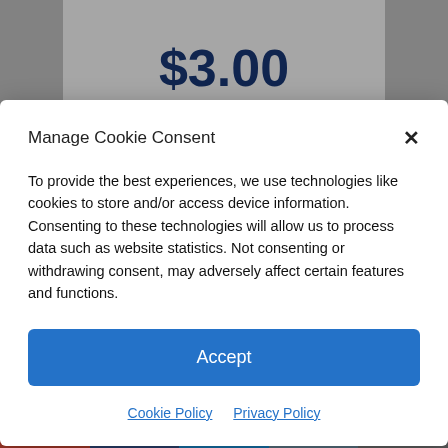$3.00
Manage Cookie Consent
To provide the best experiences, we use technologies like cookies to store and/or access device information. Consenting to these technologies will allow us to process data such as website statistics. Not consenting or withdrawing consent, may adversely affect certain features and functions.
Accept
Cookie Policy  Privacy Policy
ANNUAL